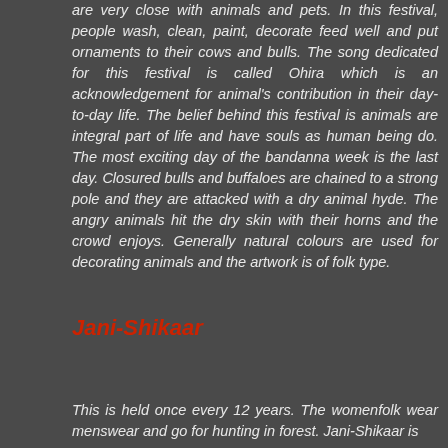are very close with animals and pets. In this festival, people wash, clean, paint, decorate feed well and put ornaments to their cows and bulls. The song dedicated for this festival is called Ohira which is an acknowledgement for animal's contribution in their day-to-day life. The belief behind this festival is animals are integral part of life and have souls as human being do. The most exciting day of the bandanna week is the last day. Closured bulls and buffaloes are chained to a strong pole and they are attacked with a dry animal hyde. The angry animals hit the dry skin with their horns and the crowd enjoys. Generally natural colours are used for decorating animals and the artwork is of folk type.
Jani-Shikaar
This is held once every 12 years. The womenfolk wear menswear and go for hunting in forest. Jani-Shikaar is